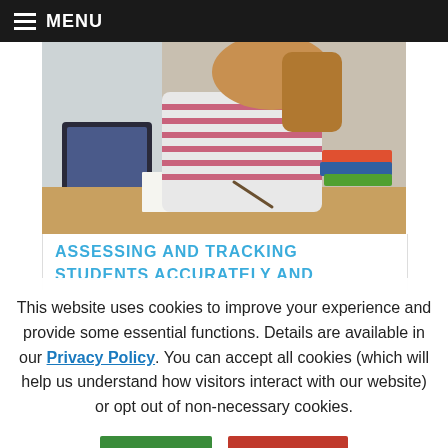MENU
[Figure (photo): Student girl writing at a desk with a tablet/laptop on the left and books stacked on the right, wearing a striped shirt, photographed from the side in a bright room.]
ASSESSING AND TRACKING STUDENTS ACCURATELY AND
This website uses cookies to improve your experience and provide some essential functions. Details are available in our Privacy Policy. You can accept all cookies (which will help us understand how visitors interact with our website) or opt out of non-necessary cookies.
Accept | Opt Out